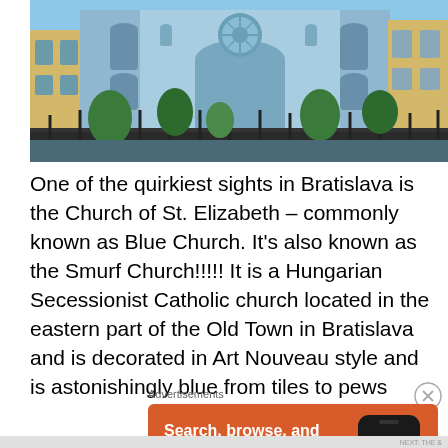[Figure (photo): Photograph of the Church of St. Elizabeth (Blue Church) in Bratislava, showing the blue Art Nouveau facade with ornate decorations, arched windows, a circular rose window, and trees in the foreground behind an iron fence.]
One of the quirkiest sights in Bratislava is the Church of St. Elizabeth – commonly known as Blue Church. It's also known as the Smurf Church!!!!! It is a Hungarian Secessionist Catholic church located in the eastern part of the Old Town in Bratislava and is decorated in Art Nouveau style and  is astonishingly blue from tiles to pews
Advertisements
[Figure (screenshot): DuckDuckGo advertisement banner with orange background. Left side shows text: 'Search, browse, and email with more privacy.' with a white button 'All in One Free App'. Right side shows a smartphone with DuckDuckGo logo and 'DuckDuckGo.' label.]